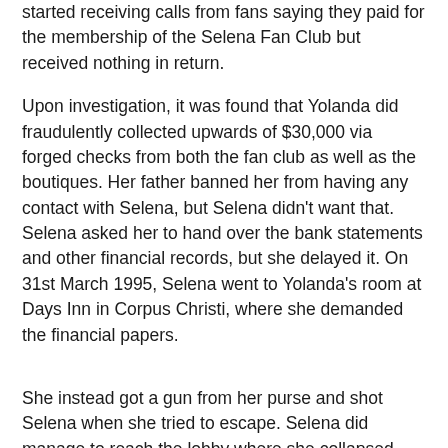started receiving calls from fans saying they paid for the membership of the Selena Fan Club but received nothing in return.
Upon investigation, it was found that Yolanda did fraudulently collected upwards of $30,000 via forged checks from both the fan club as well as the boutiques. Her father banned her from having any contact with Selena, but Selena didn’t want that. Selena asked her to hand over the bank statements and other financial records, but she delayed it. On 31st March 1995, Selena went to Yolanda’s room at Days Inn in Corpus Christi, where she demanded the financial papers.
She instead got a gun from her purse and shot Selena when she tried to escape. Selena did manage to reach the lobby where she collapsed, but before collapsing, she did name Saldivar as her